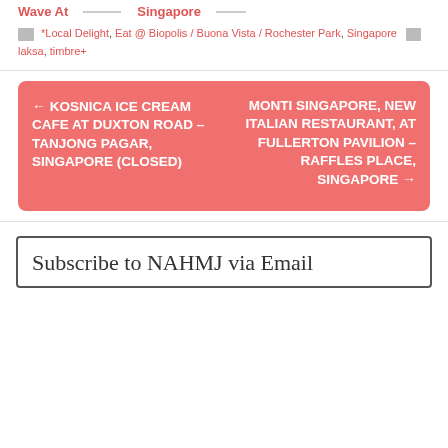Wave At [line] Singapore [line]
*Local Delight, Eat @ Biopolis / Buona Vista / Rochester Park, Singapore  laksa, timbre+
← KOSNICA ICE CREAM CAFE AT DUXTON ROAD – TANJONG PAGAR, SINGAPORE (CLOSED)
MONTI SINGAPORE, NEW ITALIAN RESTAURANT, AT FULLERTON PAVILION – RAFFLES PLACE, SINGAPORE →
Subscribe to NAHMJ via Email